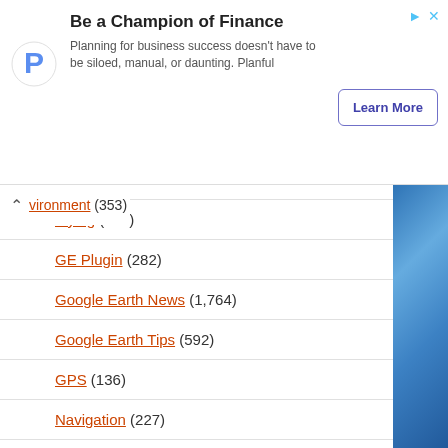[Figure (other): Advertisement banner for Planful finance planning software with logo, headline 'Be a Champion of Finance', body text, and Learn More button]
vironment (353)
Flying (208)
GE Plugin (282)
Google Earth News (1,764)
Google Earth Tips (592)
GPS (136)
Navigation (227)
Network Links (214)